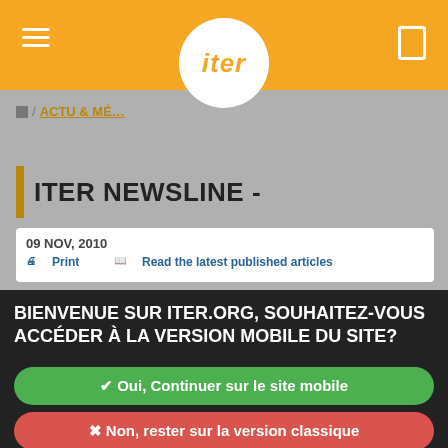iter
🏠 / ACTU & MÉ...
ITER NEWSLINE -
09 NOV, 2010
🖨 Print   📖 Read the latest published articles
BIENVENUE SUR ITER.ORG, SOUHAITEZ-VOUS ACCÉDER À LA VERSION MOBILE DU SITE?
✔ Oui, Continuer sur le site mobile
✖ Non, rester sur la version classique